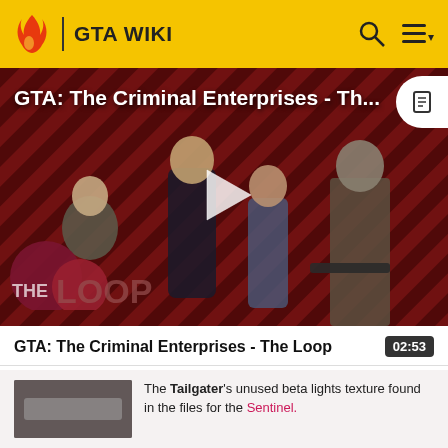GTA WIKI
[Figure (screenshot): GTA: The Criminal Enterprises - The Loop video thumbnail showing characters against a red diagonal stripe background with a play button overlay and The Loop logo]
GTA: The Criminal Enterprises - The Loop
02:53
[Figure (screenshot): Small thumbnail image of the Tailgater car beta lights texture]
The Tailgater's unused beta lights texture found in the files for the Sentinel.